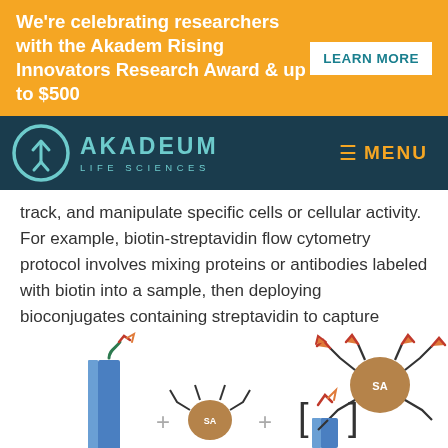We're celebrating researchers with the Akadem Rising Innovators Research Award & up to $500 LEARN MORE
[Figure (logo): Akadeum Life Sciences logo with teal circle/arrow icon and MENU button on dark teal navbar]
track, and manipulate specific cells or cellular activity. For example, biotin-streptavidin flow cytometry protocol involves mixing proteins or antibodies labeled with biotin into a sample, then deploying bioconjugates containing streptavidin to capture specific cells or molecules that interact with the biotin-tagged compounds; a flow cytometer can then measure the fluorescence of the target cells or particles to analyze their physical or chemical characteristics.
[Figure (illustration): Scientific illustration showing biotin-streptavidin binding diagram with molecules, antibodies (orange/red), streptavidin (SA) complex, blue column structure and bracket notation]